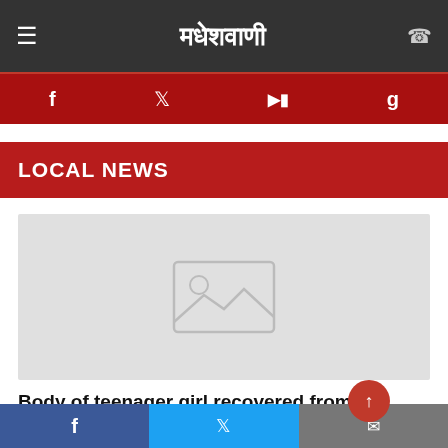मधेशवाणी
LOCAL NEWS
[Figure (photo): Placeholder image with mountain/landscape icon on light gray background]
Body of teenager girl recovered from
f  (twitter bird)  (mail icon)